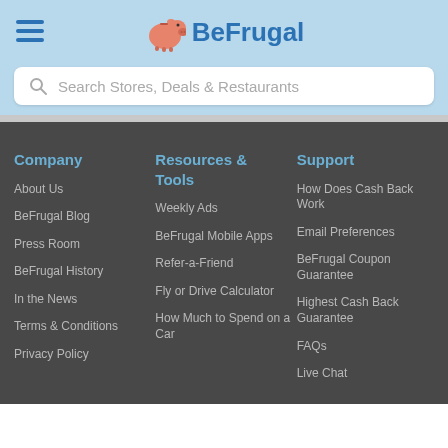[Figure (logo): BeFrugal logo with pink piggy bank icon and blue text]
Search Stores, Deals & Restaurants
Company
About Us
BeFrugal Blog
Press Room
BeFrugal History
In the News
Terms & Conditions
Privacy Policy
Resources & Tools
Weekly Ads
BeFrugal Mobile Apps
Refer-a-Friend
Fly or Drive Calculator
How Much to Spend on a Car
Support
How Does Cash Back Work
Email Preferences
BeFrugal Coupon Guarantee
Highest Cash Back Guarantee
FAQs
Live Chat